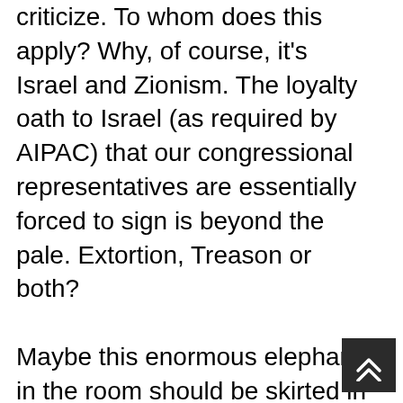criticize. To whom does this apply? Why, of course, it's Israel and Zionism. The loyalty oath to Israel (as required by AIPAC) that our congressional representatives are essentially forced to sign is beyond the pale. Extortion, Treason or both? Maybe this enormous elephant in the room should be skirted in order to attack other fictitious, controlling Narratves. I fully agree with Caitlin's point of employing discernment in choosing
[Figure (other): Dark scroll-to-top button with double upward chevron arrows in the bottom-right corner]